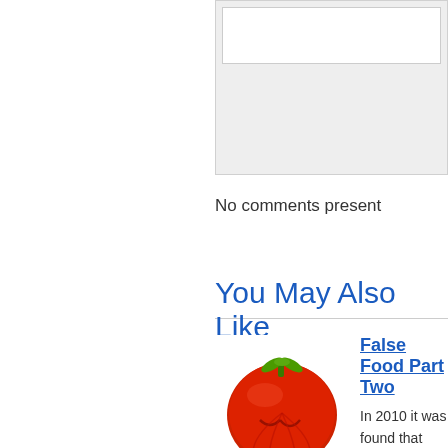[Figure (other): Gray comment box area with white inner text field at top right of page]
No comments present
You May Also Like
[Figure (photo): Deformed tomato with face-like features (False Food article thumbnail)]
False Food Part Two
In 2010 it was found that Mcnuggets c... would consider a Silly Putty chemical ... sold as "food". If…
By: Danger Remy in  Health and Fitness  >  Nutritio...
[Figure (photo): Assorted vegetables and fruits on dark background (Common Mistakes article thumbnail)]
Common Mistakes When Starting to...
Weight loss is a touchy subject for mo... lose weight then gain it back. Or wors...
By: Brian Durant  in  Health and Fitness  >  Weight Lo...
[Figure (photo): Person using a juicer (Now Is the Time to Start Juicing article thumbnail)]
Now Is the Time to Start Juicing
If you have been thinking about impro...